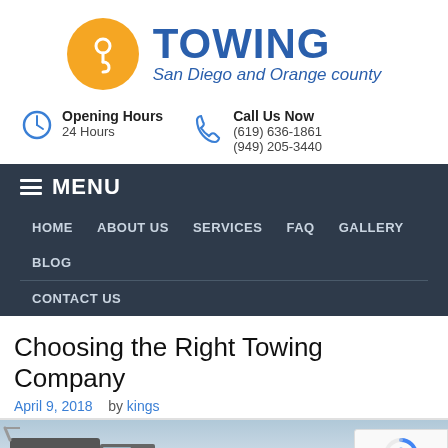[Figure (logo): Towing San Diego and Orange County logo with orange circle containing a tow hook icon and blue text]
Opening Hours
24 Hours
Call Us Now
(619) 636-1861
(949) 205-3440
≡ MENU
HOME
ABOUT US
SERVICES
FAQ
GALLERY
BLOG
CONTACT US
Choosing the Right Towing Company
April 9, 2018   by kings
[Figure (photo): Photo of a tow truck on a road with mountains in the background]